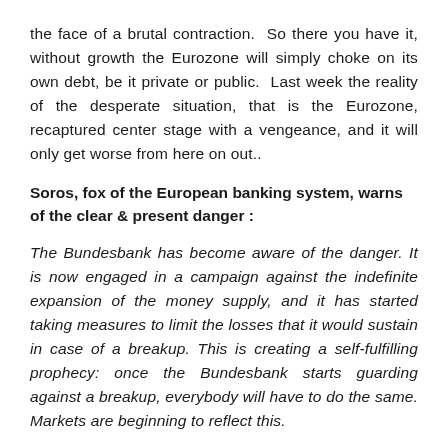the face of a brutal contraction.  So there you have it, without growth the Eurozone will simply choke on its own debt, be it private or public.  Last week the reality of the desperate situation, that is the Eurozone, recaptured center stage with a vengeance, and it will only get worse from here on out..
Soros, fox of the European banking system, warns of the clear & present danger :
The Bundesbank has become aware of the danger. It is now engaged in a campaign against the indefinite expansion of the money supply, and it has started taking measures to limit the losses that it would sustain in case of a breakup. This is creating a self-fulfilling prophecy: once the Bundesbank starts guarding against a breakup, everybody will have to do the same. Markets are beginning to reflect this.